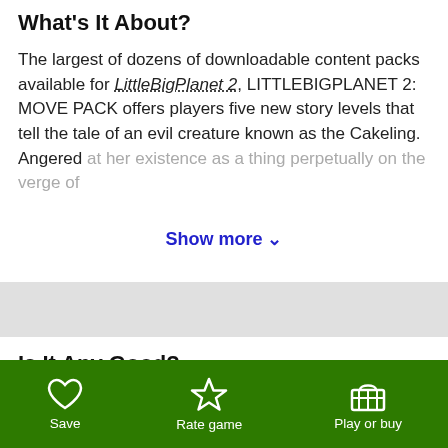What's It About?
The largest of dozens of downloadable content packs available for LittleBigPlanet 2, LITTLEBIGPLANET 2: MOVE PACK offers players five new story levels that tell the tale of an evil creature known as the Cakeling. Angered at her existence as a thing perpetually on the verge of
Show more ∨
Is It Any Good?
British developer Media Molecule has come up with several brilliant ways to seamlessly incorporate PlayStation Move functionality within its popular
Save   Rate game   Play or buy